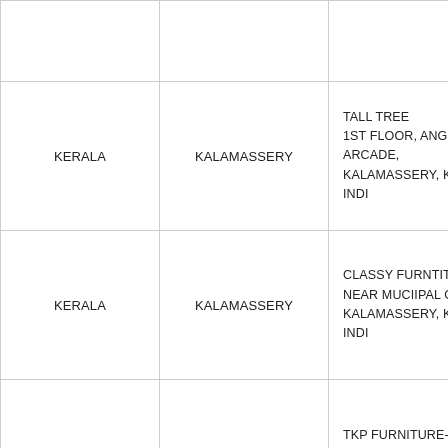|  |  |  |
| KERALA | KALAMASSERY | TALL TREE
1ST FLOOR, ANGEL ARCADE, KALAMASSERY, KERALA, INDI |
| KERALA | KALAMASSERY | CLASSY FURNTITURE
NEAR MUCIIPAL OFFICE, KALAMASSERY, KERALA, INDI |
| KERALA | KALLAI | TKP FURNITURE-KALLAI
6QQP24M, THEKEPURAM, K
KALLAI, KERALA, INDIA - 673 |